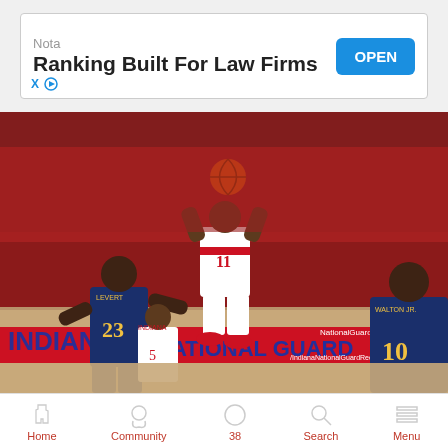[Figure (screenshot): Advertisement banner: 'Nota — Ranking Built For Law Firms' with a blue OPEN button and X/play controls]
[Figure (photo): Basketball game photo: Indiana Hoosiers player #11 shooting jump shot over Michigan players #23 (Levert) and #10 (Walton Jr.) in a packed arena with Indiana National Guard court-side advertising]
After losing so many of its leading players from last season, from Nik Stauskas to Jordan Morgan to Glenn
[Figure (screenshot): Mobile app bottom navigation bar with icons: Home, Community, 38 (notifications), Search, Menu — icons in gray, labels in red]